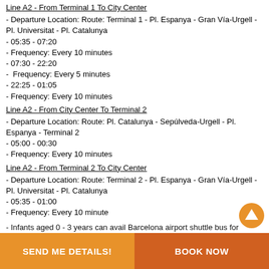Line A2 - From Terminal 1 To City Center
- Departure Location: Route: Terminal 1 - Pl. Espanya - Gran Vía-Urgell - Pl. Universitat - Pl. Catalunya
- 05:35 - 07:20
- Frequency: Every 10 minutes
- 07:30 - 22:20
-  Frequency: Every 5 minutes
- 22:25 - 01:05
- Frequency: Every 10 minutes
Line A2 - From City Center To Terminal 2
- Departure Location: Route: Pl. Catalunya - Sepúlveda-Urgell - Pl. Espanya - Terminal 2
- 05:00 - 00:30
- Frequency: Every 10 minutes
Line A2 - From Terminal 2 To City Center
- Departure Location: Route: Terminal 2 - Pl. Espanya - Gran Vía-Urgell - Pl. Universitat - Pl. Catalunya
- 05:35 - 01:00
- Frequency: Every 10 minute
- Infants aged 0 - 3 years can avail Barcelona airport shuttle bus for
SEND ME DETAILS!    BOOK NOW